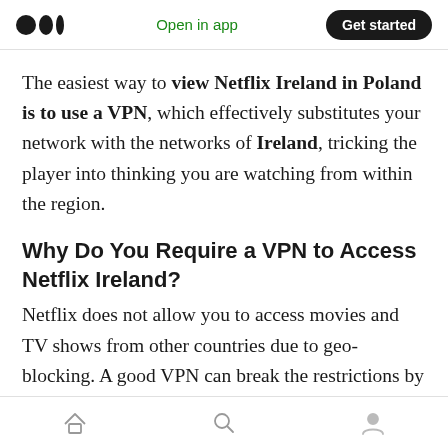Open in app  Get started
The easiest way to view Netflix Ireland in Poland is to use a VPN, which effectively substitutes your network with the networks of Ireland, tricking the player into thinking you are watching from within the region.
Why Do You Require a VPN to Access Netflix Ireland?
Netflix does not allow you to access movies and TV shows from other countries due to geo-blocking. A good VPN can break the restrictions by changing your IP address to show you in a
home  search  profile